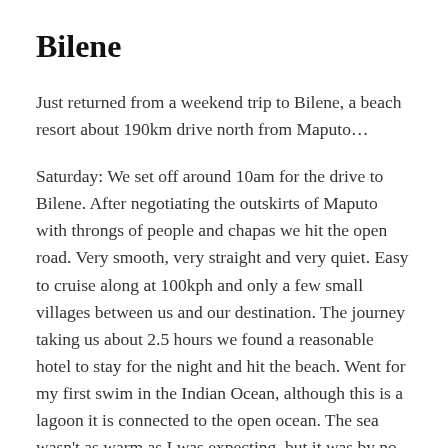Bilene
Just returned from a weekend trip to Bilene, a beach resort about 190km drive north from Maputo…
Saturday: We set off around 10am for the drive to Bilene. After negotiating the outskirts of Maputo with throngs of people and chapas we hit the open road. Very smooth, very straight and very quiet. Easy to cruise along at 100kph and only a few small villages between us and our destination. The journey taking us about 2.5 hours we found a reasonable hotel to stay for the night and hit the beach. Went for my first swim in the Indian Ocean, although this is a lagoon it is connected to the open ocean. The sea wasn't as warm as I was expecting, but it was by no means cold. The only down side of Bilene is that it is a popular weekend spot for South